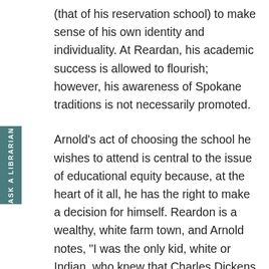(that of his reservation school) to make sense of his own identity and individuality. At Reardan, his academic success is allowed to flourish; however, his awareness of Spokane traditions is not necessarily promoted.
Arnold's act of choosing the school he wishes to attend is central to the issue of educational equity because, at the heart of it all, he has the right to make a decision for himself. Reardon is a wealthy, white farm town, and Arnold notes, “I was the only kid, white or Indian, who knew that Charles Dickens wrote A Tale of Two Cities . And let me tell you, we Indians were the worst of times and those Reardan kids were the best of times” (50). Arnold assesses Reardon as